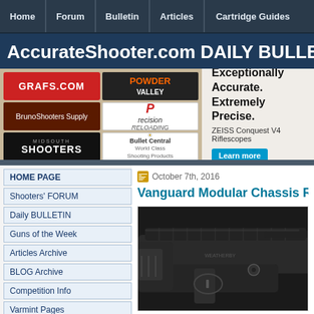Home | Forum | Bulletin | Articles | Cartridge Guides
AccurateShooter.com DAILY BULLET
[Figure (infographic): Advertisement banner with sponsor logos: GRAFS.COM, POWDER VALLEY, Bruno Shooters Supply, Precision Reloading, MIDSOUTH SHOOTERS, Bullet Central. Right side: ZEISS Conquest V4 Riflescopes ad with 'Exceptionally Accurate. Extremely Precise.' headline and 'Learn more' button.]
HOME PAGE
Shooters' FORUM
Daily BULLETIN
Guns of the Week
Articles Archive
BLOG Archive
Competition Info
Varmint Pages
6BR Info Page
6BR Improved
17 CAL Info Page
October 7th, 2016
Vanguard Modular Chassis Rifle
[Figure (photo): Close-up photo of a Vanguard Modular Chassis Rifle showing the action and stock in dark/black finish]